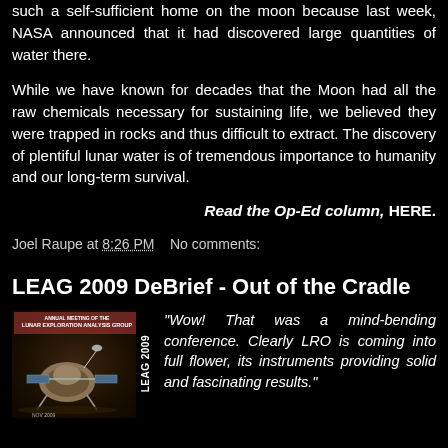such a self-sufficient home on the moon because last week, NASA announced that it had discovered large quantities of water there.
While we have known for decades that the Moon had all the raw chemicals necessary for sustaining life, we believed they were trapped in rocks and thus difficult to extract. The discovery of plentiful lunar water is of tremendous importance to humanity and our long-term survival.
Read the Op-Ed column, HERE.
Joel Raupe at 8:26 PM    No comments:
LEAG 2009 DeBrief - Out of the Cradle
[Figure (photo): LEAG 2009 conference cover image showing lunar spacecraft with conference branding and LEAG 2009 vertical text]
"Wow! That was a mind-bending conference. Clearly LRO is coming into full flower, its instruments providing solid and fascinating results."